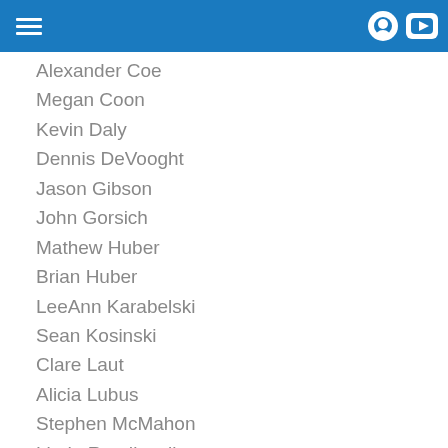Alexander Coe
Megan Coon
Kevin Daly
Dennis DeVooght
Jason Gibson
John Gorsich
Mathew Huber
Brian Huber
LeeAnn Karabelski
Sean Kosinski
Clare Laut
Alicia Lubus
Stephen McMahon
Linda Ruedisueli
Richard Sloan
Eric Stalter
Grant Tyburski